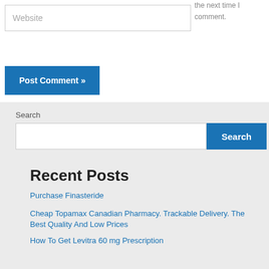Website
the next time I comment.
Post Comment »
Search
Search
Recent Posts
Purchase Finasteride
Cheap Topamax Canadian Pharmacy. Trackable Delivery. The Best Quality And Low Prices
How To Get Levitra 60 mg Prescription